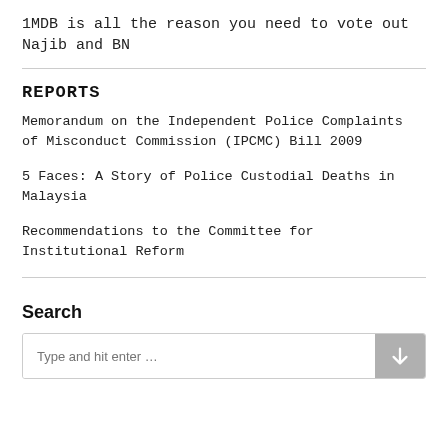1MDB is all the reason you need to vote out Najib and BN
REPORTS
Memorandum on the Independent Police Complaints of Misconduct Commission (IPCMC) Bill 2009
5 Faces: A Story of Police Custodial Deaths in Malaysia
Recommendations to the Committee for Institutional Reform
Search